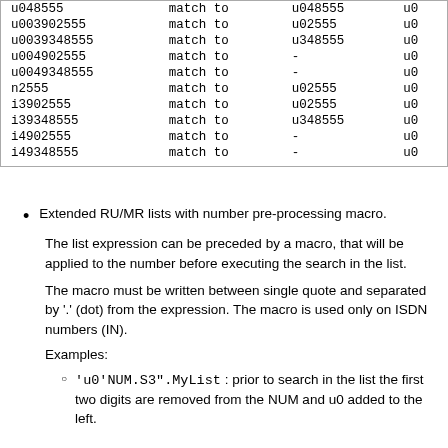| u048555 | match to | u048555 | u0... |
| u003902555 | match to | u02555 | u0... |
| u0039348555 | match to | u348555 | u0... |
| u004902555 | match to | - | u0... |
| u0049348555 | match to | - | u0... |
| n2555 | match to | u02555 | u0... |
| i3902555 | match to | u02555 | u0... |
| i39348555 | match to | u348555 | u0... |
| i4902555 | match to | - | u0... |
| i49348555 | match to | - | u0... |
Extended RU/MR lists with number pre-processing macro.
The list expression can be preceded by a macro, that will be applied to the number before executing the search in the list.
The macro must be written between single quote and separated by '.' (dot) from the expression. The macro is used only on ISDN numbers (IN).
Examples:
'u0'NUM.S3".MyList : prior to search in the list the first two digits are removed from the NUM and u0 added to the left.